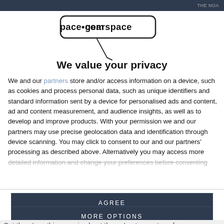THE NOA
[Figure (logo): gearspace.com logo with microphone icon below]
We value your privacy
We and our partners store and/or access information on a device, such as cookies and process personal data, such as unique identifiers and standard information sent by a device for personalised ads and content, ad and content measurement, and audience insights, as well as to develop and improve products. With your permission we and our partners may use precise geolocation data and identification through device scanning. You may click to consent to our and our partners' processing as described above. Alternatively you may access more detailed information and change your preferences before consenting
AGREE
MORE OPTIONS
But there's nothing magic about them. I got more tone from